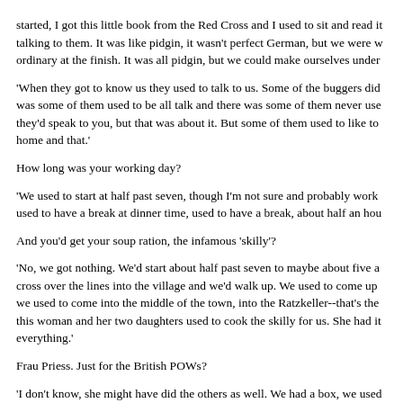started, I got this little book from the Red Cross and I used to sit and read it talking to them. It was like pidgin, it wasn't perfect German, but we were w ordinary at the finish. It was all pidgin, but we could make ourselves under
'When they got to know us they used to talk to us. Some of the buggers did was some of them used to be all talk and there was some of them never use they'd speak to you, but that was about it. But some of them used to like to home and that.'
How long was your working day?
'We used to start at half past seven, though I'm not sure and probably work used to have a break at dinner time, used to have a break, about half an hou
And you'd get your soup ration, the infamous 'skilly'?
'No, we got nothing. We'd start about half past seven to maybe about five a cross over the lines into the village and we'd walk up. We used to come up we used to come into the middle of the town, into the Ratzkeller--that's the this woman and her two daughters used to cook the skilly for us. She had it everything.'
Frau Priess. Just for the British POWs?
'I don't know, she might have did the others as well. We had a box, we used